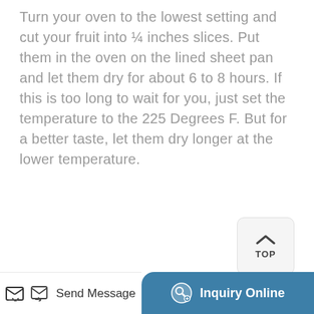Turn your oven to the lowest setting and cut your fruit into ¼ inches slices. Put them in the oven on the lined sheet pan and let them dry for about 6 to 8 hours. If this is too long to wait for you, just set the temperature to the 225 Degrees F. But for a better taste, let them dry longer at the lower temperature.
Learn More
[Figure (screenshot): TOP navigation button with upward caret arrow]
[Figure (photo): Photo of a commercial oven/dehydrator appliance, teal/blue and white colored, with labels and warning stickers visible]
Send Message
Inquiry Online